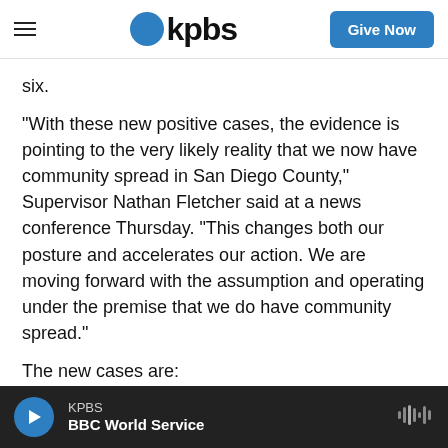KPBS — Give Now
six.
“With these new positive cases, the evidence is pointing to the very likely reality that we now have community spread in San Diego County,” Supervisor Nathan Fletcher said at a news conference Thursday. “This changes both our posture and accelerates our action. We are moving forward with the assumption and operating under the premise that we do have community spread.”
The new cases are:
a woman in her 70s who traveled on the
KPBS — BBC World Service